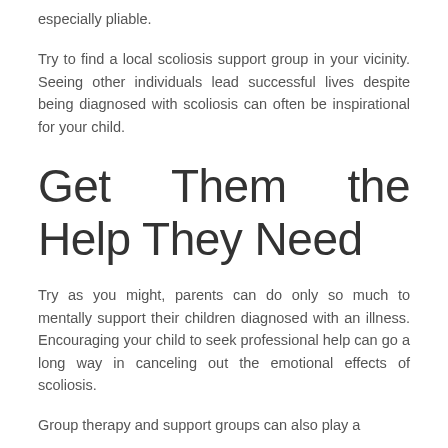especially pliable.
Try to find a local scoliosis support group in your vicinity. Seeing other individuals lead successful lives despite being diagnosed with scoliosis can often be inspirational for your child.
Get Them the Help They Need
Try as you might, parents can do only so much to mentally support their children diagnosed with an illness. Encouraging your child to seek professional help can go a long way in canceling out the emotional effects of scoliosis.
Group therapy and support groups can also play a